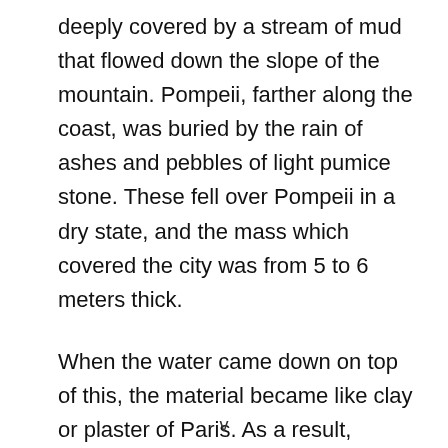deeply covered by a stream of mud that flowed down the slope of the mountain. Pompeii, farther along the coast, was buried by the rain of ashes and pebbles of light pumice stone. These fell over Pompeii in a dry state, and the mass which covered the city was from 5 to 6 meters thick.
When the water came down on top of this, the material became like clay or plaster of Paris. As a result, objects that were caught in it made molds of the material, and the two towns were remarkably preserved underneath!
v